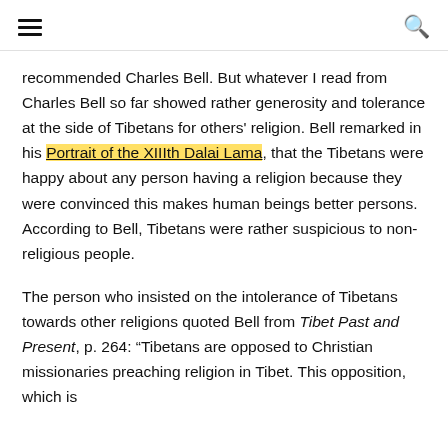[navigation icons: hamburger menu and search]
recommended Charles Bell. But whatever I read from Charles Bell so far showed rather generosity and tolerance at the side of Tibetans for others' religion. Bell remarked in his Portrait of the XIIIth Dalai Lama, that the Tibetans were happy about any person having a religion because they were convinced this makes human beings better persons. According to Bell, Tibetans were rather suspicious to non-religious people.
The person who insisted on the intolerance of Tibetans towards other religions quoted Bell from Tibet Past and Present, p. 264: “Tibetans are opposed to Christian missionaries preaching religion in Tibet. This opposition, which is